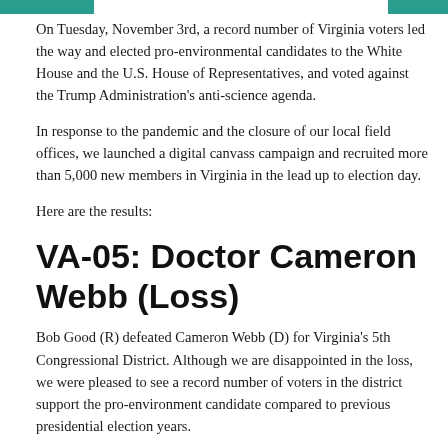On Tuesday, November 3rd, a record number of Virginia voters led the way and elected pro-environmental candidates to the White House and the U.S. House of Representatives, and voted against the Trump Administration's anti-science agenda.
In response to the pandemic and the closure of our local field offices, we launched a digital canvass campaign and recruited more than 5,000 new members in Virginia in the lead up to election day.
Here are the results:
VA-05: Doctor Cameron Webb (Loss)
Bob Good (R) defeated Cameron Webb (D) for Virginia's 5th Congressional District. Although we are disappointed in the loss, we were pleased to see a record number of voters in the district support the pro-environment candidate compared to previous presidential election years.
The district will be a battleground again in future elections. Clean